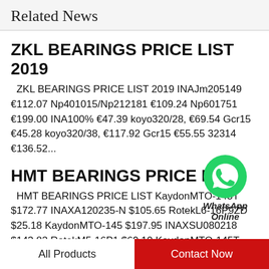Related News
ZKL BEARINGS PRICE LIST 2019
ZKL BEARINGS PRICE LIST 2019 INAJm205149 €112.07 Np401015/Np212181 €109.24 Np601751 €199.00 INA100% €47.39 koyo320/28, €69.54 Gcr15 €45.28 koyo320/38, €117.92 Gcr15 €55.55 32314 €136.52...
[Figure (logo): WhatsApp Online widget with green WhatsApp icon and italic bold text 'WhatsApp Online']
HMT BEARINGS PRICE LIST
HMT BEARINGS PRICE LIST KaydonMTO-143T $172.77 INAXA120235-N $105.65 RotekL6-16P9ZD $25.18 KaydonMTO-145 $197.95 INAXSU080218 $143.82 RotekM5-16P1 $69.10 KaydonMTO-145T $179.92 INAVU20026 $125.35...
All Products    Contact Now